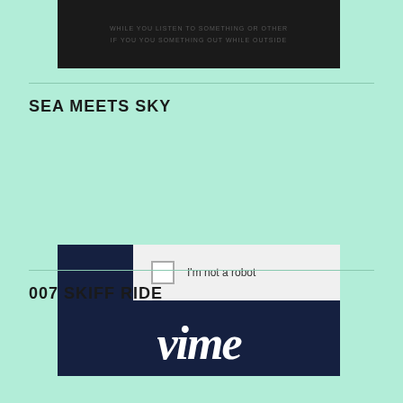[Figure (screenshot): Dark video thumbnail with faint text lines on dark background, partially visible at top of page]
SEA MEETS SKY
[Figure (screenshot): Vimeo embedded video player showing reCAPTCHA 'I'm not a robot' checkbox overlay on dark navy background with Vimeo logo text partially visible]
007 SKIFF RIDE
[Figure (screenshot): Dark grey media player error box with text: The media could not be loaded, either because the server or network failed or]